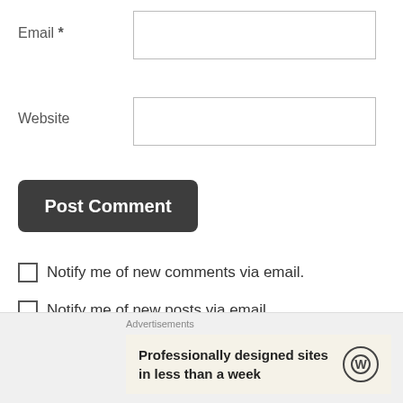Email *
Website
Post Comment
Notify me of new comments via email.
Notify me of new posts via email.
This site uses Akismet to reduce spam. Learn how your
Advertisements
Professionally designed sites in less than a week